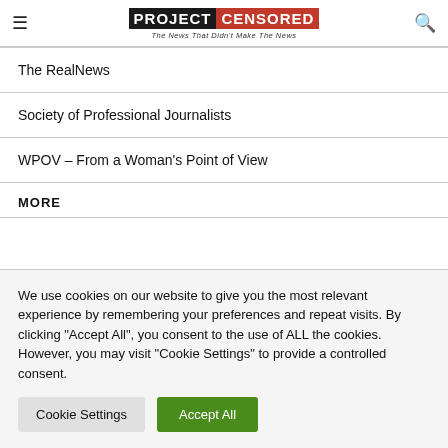Project Censored – The News That Didn't Make The News
The RealNews
Society of Professional Journalists
WPOV – From a Woman's Point of View
MORE
We use cookies on our website to give you the most relevant experience by remembering your preferences and repeat visits. By clicking "Accept All", you consent to the use of ALL the cookies. However, you may visit "Cookie Settings" to provide a controlled consent.